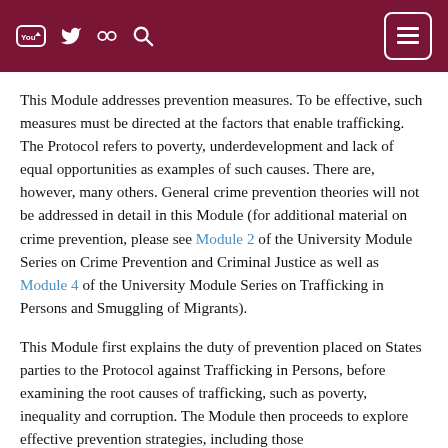Navigation header bar with YouTube, Twitter, Flickr, Search icons and menu button
This Module addresses prevention measures. To be effective, such measures must be directed at the factors that enable trafficking. The Protocol refers to poverty, underdevelopment and lack of equal opportunities as examples of such causes. There are, however, many others. General crime prevention theories will not be addressed in detail in this Module (for additional material on crime prevention, please see Module 2 of the University Module Series on Crime Prevention and Criminal Justice as well as Module 4 of the University Module Series on Trafficking in Persons and Smuggling of Migrants).
This Module first explains the duty of prevention placed on States parties to the Protocol against Trafficking in Persons, before examining the root causes of trafficking, such as poverty, inequality and corruption. The Module then proceeds to explore effective prevention strategies, including those